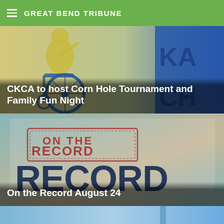GREAT BEND TRIBUNE
[Figure (illustration): Illustration of a person in a wheelchair with blue and yellow colors, with partial text 'KAN CHI' visible on the right side]
CKCA to host Corn Hole Tournament and Family Fun Night
[Figure (illustration): Image showing a stamp-style graphic reading 'ON THE RECORD' in red on top of dark navy bold text 'RECORD', over a muted teal/beige background suggesting documents or papers]
On the Record August 24
[Figure (photo): Partial photo at bottom, appears light blue, cropped]